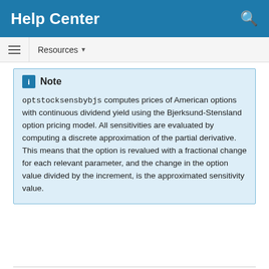Help Center
Resources ▾
Note
optstocksensbybjs computes prices of American options with continuous dividend yield using the Bjerksund-Stensland option pricing model. All sensitivities are evaluated by computing a discrete approximation of the partial derivative. This means that the option is revalued with a fractional change for each relevant parameter, and the change in the option value divided by the increment, is the approximated sensitivity value.
PriceSens = optstocksensbybjs( __ ,Name,Value) adds an optional name-value pair argument for OutSpec.